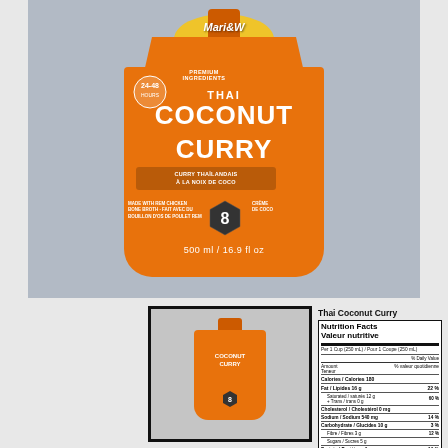[Figure (photo): Orange pouch package of Thai Coconut Curry / Curry Thaïlandais À La Noix De Coco by Mari&W brand. 500 ml / 16.9 fl oz. Made with bone broth chicken. Premium ingredients. 24-48 hours. Badge with number 8.]
[Figure (photo): Thumbnail image of the same Thai Coconut Curry orange pouch product, shown from the front.]
Thai Coconut Curry
| Nutrition Facts / Valeur nutritive | % Daily Value |
| --- | --- |
| Per 1 Cup (250 mL) / Pour 1 Coupe (250 mL) |  |
| Calories / Calories 180 |  |
| Fat / Lipides 16 g | 22 % |
| Saturated / saturés 12 g + Trans / trans 0 g | 60 % |
| Cholesterol / Cholestérol 0 mg |  |
| Sodium / Sodium 540 mg | 14 % |
| Carbohydrate / Glucides 10 g | 3 % |
| Fibre / Fibres 3 g | 12 % |
| Sugars / Sucres 5 g |  |
| Protein / Protéines 6 g | 16 % |
| Vitamin A / Vitamine A | 150 % |
| Vitamin C / Vitamine C | 15 % |